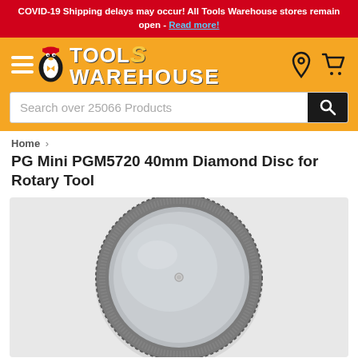COVID-19 Shipping delays may occur! All Tools Warehouse stores remain open - Read more!
[Figure (logo): Tools Warehouse logo with penguin mascot on orange background with hamburger menu, location pin and cart icons]
Search over 25066 Products
Home › PG Mini PGM5720 40mm Diamond Disc for Rotary Tool
PG Mini PGM5720 40mm Diamond Disc for Rotary Tool
[Figure (photo): Product photo of a circular diamond disc for rotary tool, grey metallic surface with textured diamond-coated edge and small center hole, on light background]